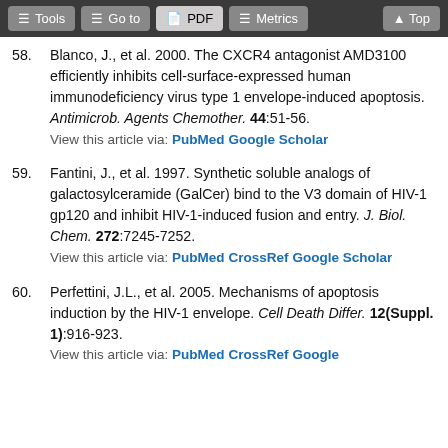Tools | Go to | PDF | Metrics | Top
58. Blanco, J., et al. 2000. The CXCR4 antagonist AMD3100 efficiently inhibits cell-surface-expressed human immunodeficiency virus type 1 envelope-induced apoptosis. Antimicrob. Agents Chemother. 44:51-56.
View this article via: PubMed Google Scholar
59. Fantini, J., et al. 1997. Synthetic soluble analogs of galactosylceramide (GalCer) bind to the V3 domain of HIV-1 gp120 and inhibit HIV-1-induced fusion and entry. J. Biol. Chem. 272:7245-7252.
View this article via: PubMed CrossRef Google Scholar
60. Perfettini, J.L., et al. 2005. Mechanisms of apoptosis induction by the HIV-1 envelope. Cell Death Differ. 12(Suppl. 1):916-923.
View this article via: PubMed CrossRef Google